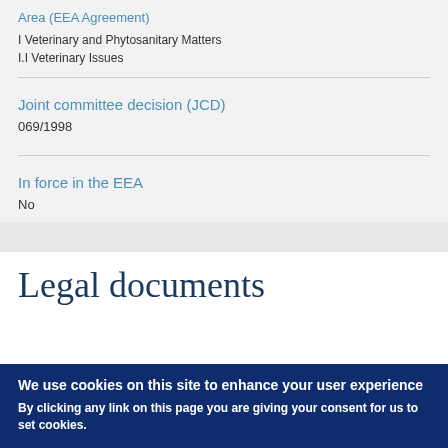Area (EEA Agreement)
I Veterinary and Phytosanitary Matters
I.I Veterinary Issues
Joint committee decision (JCD)
069/1998
In force in the EEA
No
Legal documents
We use cookies on this site to enhance your user experience
By clicking any link on this page you are giving your consent for us to set cookies.